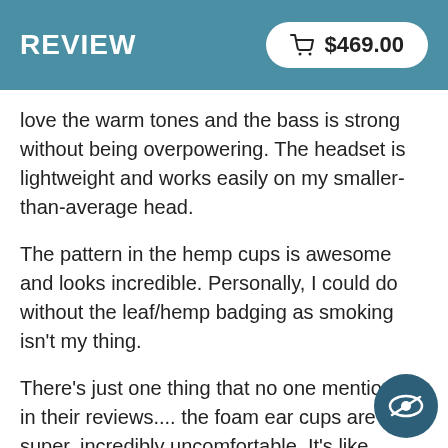REVIEW   $469.00
love the warm tones and the bass is strong without being overpowering. The headset is lightweight and works easily on my smaller-than-average head.
The pattern in the hemp cups is awesome and looks incredible. Personally, I could do without the leaf/hemp badging as smoking isn't my thing.
There's just one thing that no one mentioned in their reviews.... the foam ear cups are super, incredibly uncomfortable. It's like having sandpaper clamped to your ears. For an expensive headset, I feel this is unconscionable. If I'd known I don't think I would have purchased these headphones. I love the look and the sound